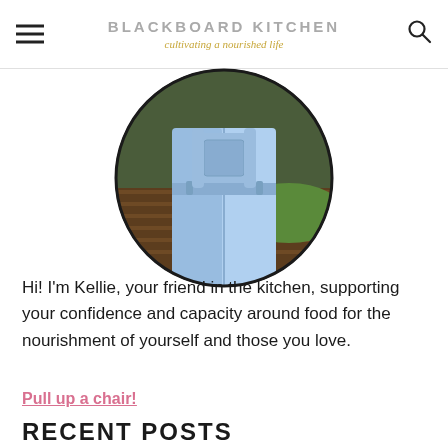BLACKBOARD KITCHEN
cultivating a nourished life
[Figure (photo): Circular cropped photo of a person wearing light blue denim overalls, shown from waist down, standing outdoors on a wooden deck with green grass in background.]
Hi! I'm Kellie, your friend in the kitchen, supporting your confidence and capacity around food for the nourishment of yourself and those you love.
Pull up a chair!
RECENT POSTS